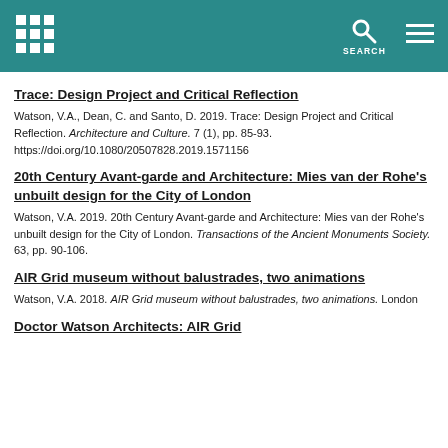Header with grid logo, search icon, and hamburger menu on teal background
Trace: Design Project and Critical Reflection
Watson, V.A., Dean, C. and Santo, D. 2019. Trace: Design Project and Critical Reflection. Architecture and Culture. 7 (1), pp. 85-93. https://doi.org/10.1080/20507828.2019.1571156
20th Century Avant-garde and Architecture: Mies van der Rohe's unbuilt design for the City of London
Watson, V.A. 2019. 20th Century Avant-garde and Architecture: Mies van der Rohe's unbuilt design for the City of London. Transactions of the Ancient Monuments Society. 63, pp. 90-106.
AIR Grid museum without balustrades, two animations
Watson, V.A. 2018. AIR Grid museum without balustrades, two animations. London
Doctor Watson Architects: AIR Grid Installation